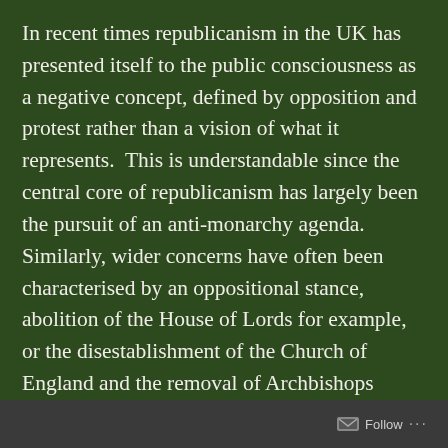In recent times republicanism in the UK has presented itself to the public consciousness as a negative concept, defined by opposition and protest rather than a vision of what it represents.  This is understandable since the central core of republicanism has largely been the pursuit of an anti-monarchy agenda. Similarly, wider concerns have often been characterised by an oppositional stance, abolition of the House of Lords for example, or the disestablishment of the Church of England and the removal of Archbishops (Lords Spiritual) from the Upper Chamber. Like my fellow republicans I too am highly critical of the outdated unearned privilege the Royals enjoy, in part because it is much easier to say what you
Follow